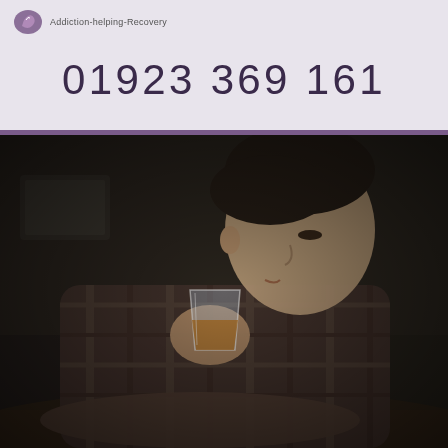01923 369 161
[Figure (photo): Man in a plaid shirt leaning over a table, looking down while drinking amber liquid from a glass tumbler, with blurred background suggesting a workspace or bar environment.]